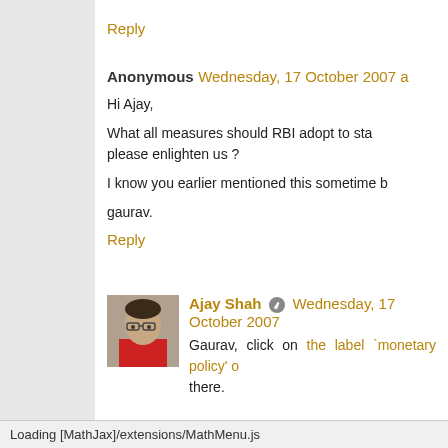Reply
Anonymous Wednesday, 17 October 2007 a
Hi Ajay,

What all measures should RBI adopt to sta please enlighten us ?

I know you earlier mentioned this sometime b

gaurav.
Reply
Ajay Shah Wednesday, 17 October 2007
Gaurav, click on the label `monetary policy' o there.
Loading [MathJax]/extensions/MathMenu.js